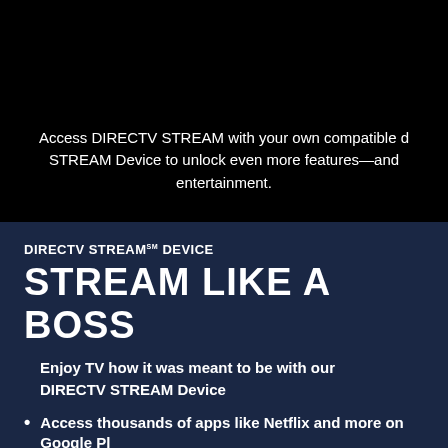HOW CAN YOU WATCH STREAM IN JOURDANTON,
Access DIRECTV STREAM with your own compatible device, or get a DIRECTV STREAM Device to unlock even more features—and the ultimate home entertainment.
DIRECTV STREAMSM DEVICE
STREAM LIKE A BOSS
Enjoy TV how it was meant to be with our DIRECTV STREAM Device
Access thousands of apps like Netflix and more on Google Play
Search using our voice remote with Google Assistant
Google login required.